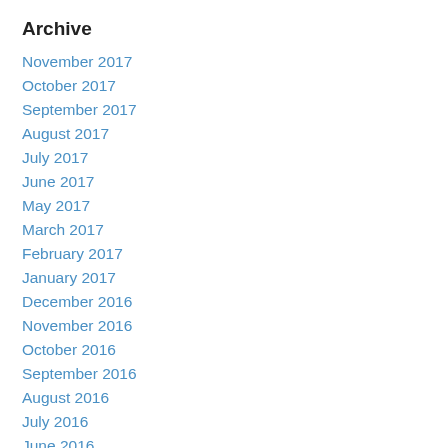Archive
November 2017
October 2017
September 2017
August 2017
July 2017
June 2017
May 2017
March 2017
February 2017
January 2017
December 2016
November 2016
October 2016
September 2016
August 2016
July 2016
June 2016
May 2016
April 2016
March 2016
February 2016